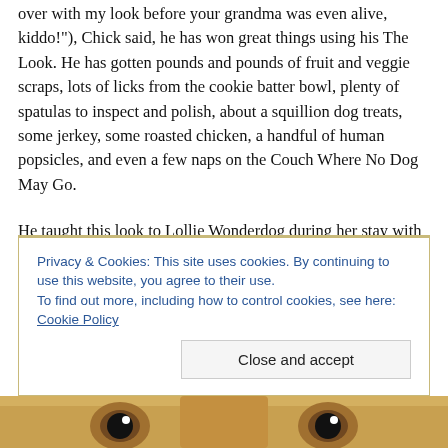over with my look before your grandma was even alive, kiddo!"), Chick said, he has won great things using his The Look. He has gotten pounds and pounds of fruit and veggie scraps, lots of licks from the cookie batter bowl, plenty of spatulas to inspect and polish, about a squillion dog treats, some jerkey, some roasted chicken, a handful of human popsicles, and even a few naps on the Couch Where No Dog May Go.
He taught this look to Lollie Wonderdog during her stay with us, and she took to it right away:
Privacy & Cookies: This site uses cookies. By continuing to use this website, you agree to their use.
To find out more, including how to control cookies, see here: Cookie Policy
[Figure (photo): Close-up photo of a dog's face showing two eyes at the bottom of the page]